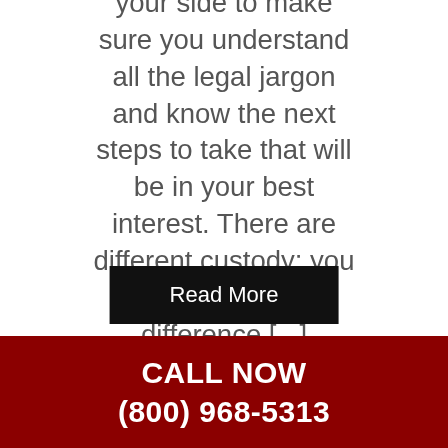your side to make sure you understand all the legal jargon and know the next steps to take that will be in your best interest. There are different custody; you should know the difference [...]
Read More
CALL NOW (800) 968-5313